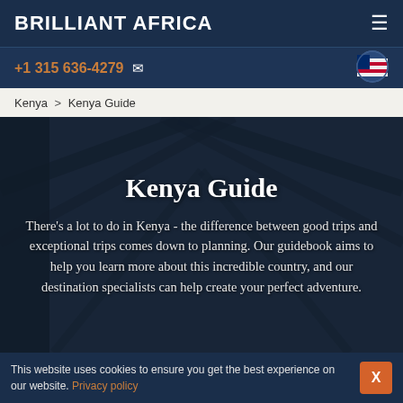BRILLIANT AFRICA
+1 315 636-4279
Kenya > Kenya Guide
Kenya Guide
There's a lot to do in Kenya - the difference between good trips and exceptional trips comes down to planning. Our guidebook aims to help you learn more about this incredible country, and our destination specialists can help create your perfect adventure.
This website uses cookies to ensure you get the best experience on our website. Privacy policy